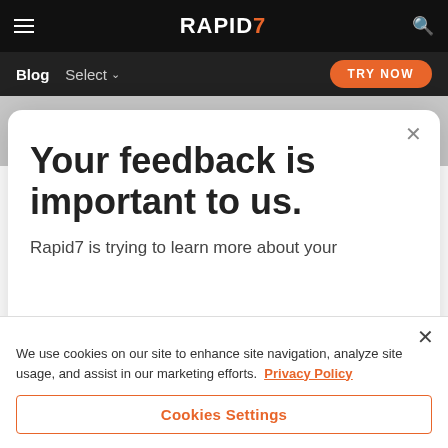RAPID7 (logo) — hamburger menu, search icon
Blog  Select  TRY NOW
As Rapid7 researchers note regularly in our
Your feedback is important to us.
Rapid7 is trying to learn more about your
We use cookies on our site to enhance site navigation, analyze site usage, and assist in our marketing efforts. Privacy Policy
Cookies Settings